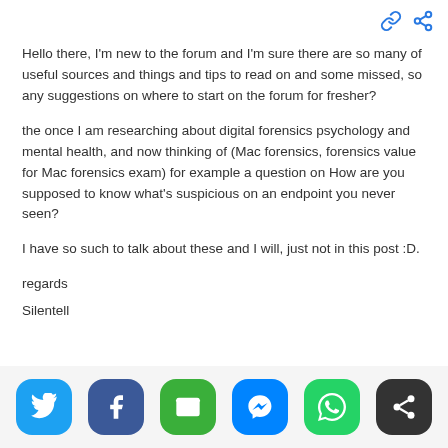[Figure (other): Link and share icons in blue at top right]
Hello there, I'm new to the forum and I'm sure there are so many of useful sources and things and tips to read on and some missed, so any suggestions on where to start on the forum for fresher?
the once I am researching about digital forensics psychology and mental health, and now thinking of (Mac forensics, forensics value for Mac forensics exam) for example a question on How are you supposed to know what’s suspicious on an endpoint you never seen?
I have so such to talk about these and I will, just not in this post :D.
regards
Silentell
[Figure (other): Social sharing buttons bar: Twitter, Facebook, Email, Messenger, WhatsApp, Share]